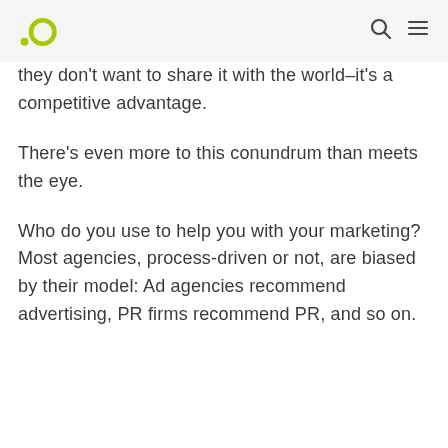[Logo] [Search icon] [Menu icon]
they don't want to share it with the world–it's a competitive advantage.
There's even more to this conundrum than meets the eye.
Who do you use to help you with your marketing? Most agencies, process-driven or not, are biased by their model: Ad agencies recommend advertising, PR firms recommend PR, and so on.